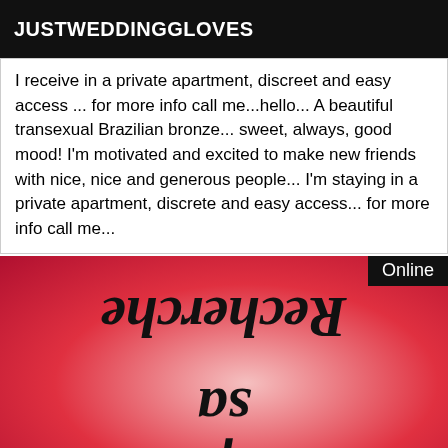JUSTWEDDINGGLOVES
I receive in a private apartment, discreet and easy access ... for more info call me...hello... A beautiful transexual Brazilian bronze... sweet, always, good mood! I'm motivated and excited to make new friends with nice, nice and generous people... I'm staying in a private apartment, discrete and easy access... for more info call me...
[Figure (illustration): Red gradient background image with mirrored/reversed decorative script text reading 'Recherche sa' (mirrored). A black 'Online' badge appears in the top right corner.]